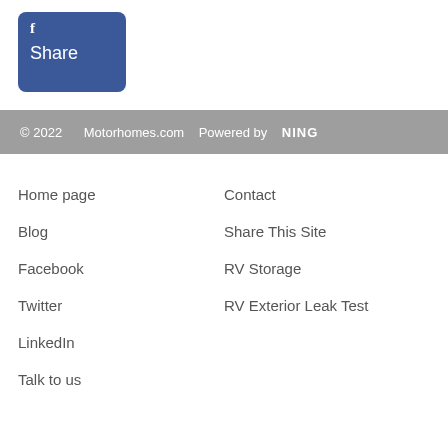[Figure (other): Facebook Share button — dark blue rounded rectangle with 'f' icon on top-left and 'Share' text below]
© 2022    Motorhomes.com  Powered by  NING
Home page
Contact
Blog
Share This Site
Facebook
RV Storage
Twitter
RV Exterior Leak Test
LinkedIn
Talk to us